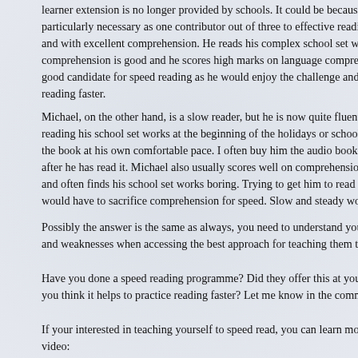learner extension is no longer provided by schools. It could be because speed r particularly necessary as one contributor out of three to effective reading. My c and with excellent comprehension. He reads his complex school set works in a comprehension is good and he scores high marks on language comprehension good candidate for speed reading as he would enjoy the challenge and not lose e reading faster.
Michael, on the other hand, is a slow reader, but he is now quite fluent and acc reading his school set works at the beginning of the holidays or school term so the book at his own comfortable pace. I often buy him the audio book too, so tha after he has read it. Michael also usually scores well on comprehension tests. M and often finds his school set works boring. Trying to get him to read quicker w would have to sacrifice comprehension for speed. Slow and steady works well f
Possibly the answer is the same as always, you need to understand your child a and weaknesses when accessing the best approach for teaching them to read.
Have you done a speed reading programme? Did they offer this at your school e you think it helps to practice reading faster? Let me know in the comments.
If your interested in teaching yourself to speed read, you can learn more about video: